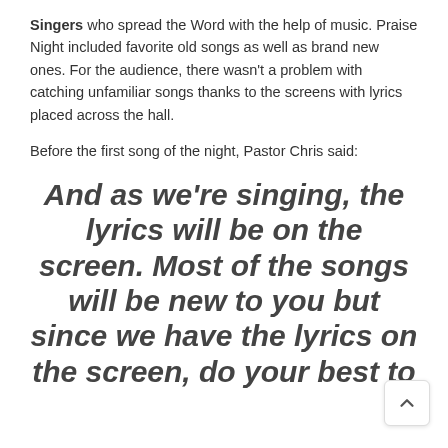Singers who spread the Word with the help of music. Praise Night included favorite old songs as well as brand new ones. For the audience, there wasn't a problem with catching unfamiliar songs thanks to the screens with lyrics placed across the hall.
Before the first song of the night, Pastor Chris said:
And as we're singing, the lyrics will be on the screen. Most of the songs will be new to you but since we have the lyrics on the screen, do your best to